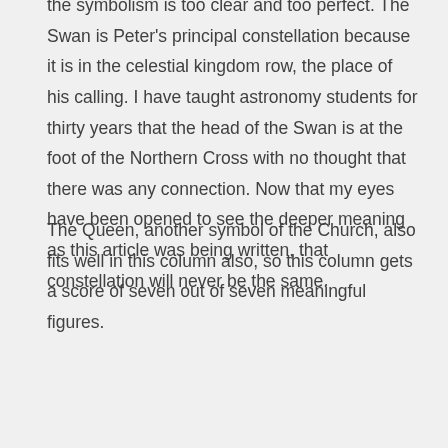the symbolism is too clear and too perfect. The Swan is Peter's principal constellation because it is in the celestial kingdom row, the place of his calling. I have taught astronomy students for thirty years that the head of the Swan is at the foot of the Northern Cross with no thought that there was any connection. Now that my eyes have been opened to see the deeper meaning as this article was being written, that constellation will never be the same.
The Queen, another symbol of the Church, also fits well in this column also, so this column gets a score of seven out of seven meaningful figures.